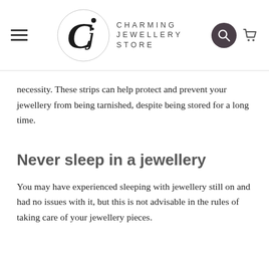Charming Jewellery Store
necessity. These strips can help protect and prevent your jewellery from being tarnished, despite being stored for a long time.
Never sleep in a jewellery
You may have experienced sleeping with jewellery still on and had no issues with it, but this is not advisable in the rules of taking care of your jewellery pieces.